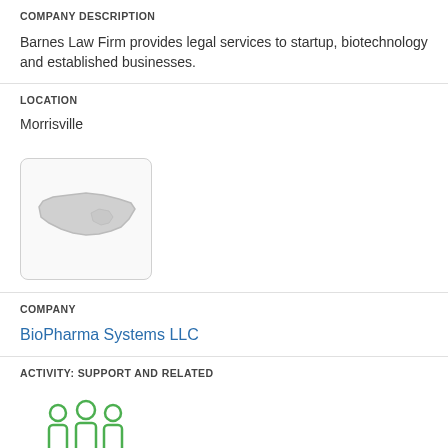COMPANY DESCRIPTION
Barnes Law Firm provides legal services to startup, biotechnology and established businesses.
LOCATION
Morrisville
[Figure (map): Map showing the state of North Carolina outline in gray on a light background]
COMPANY
BioPharma Systems LLC
ACTIVITY: SUPPORT AND RELATED
[Figure (illustration): Green outline icon of three people/team members standing together]